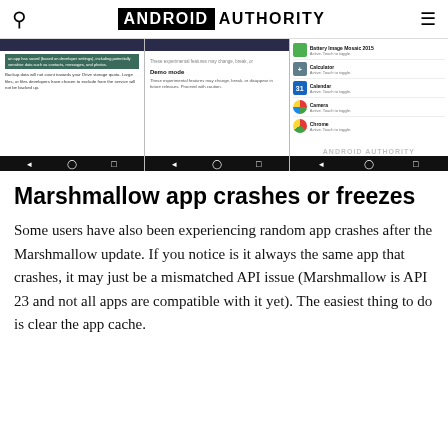ANDROID AUTHORITY
[Figure (screenshot): Three Android screenshots: backup settings screen, demo mode settings screen, and app permissions list showing Battery Image Mosaic 2015, Calculator, Calendar, Camera, Chrome — each with 'Active. Touch to toggle.' and Android navigation bars at bottom.]
Marshmallow app crashes or freezes
Some users have also been experiencing random app crashes after the Marshmallow update. If you notice is it always the same app that crashes, it may just be a mismatched API issue (Marshmallow is API 23 and not all apps are compatible with it yet). The easiest thing to do is clear the app cache.